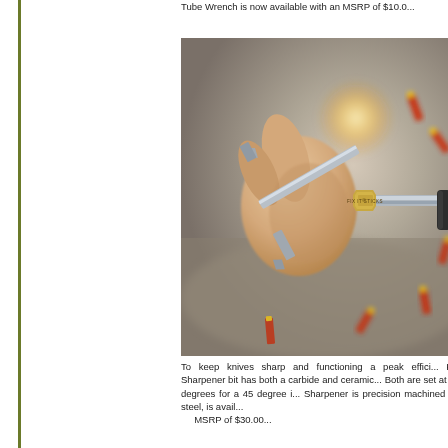Tube Wrench is now available with an MSRP of $10.0...
[Figure (photo): Close-up photo of a hand holding a Fix It Sticks tool being inserted into a torque wrench or driver, with spent shotgun shells in the blurred background.]
To keep knives sharp and functioning a peak effici... Knife Sharpener bit has both a carbide and ceramic... Both are set at 22.5 degrees for a 45 degree i... Sharpener is precision machined from steel, is avail... MSRP of $30.00